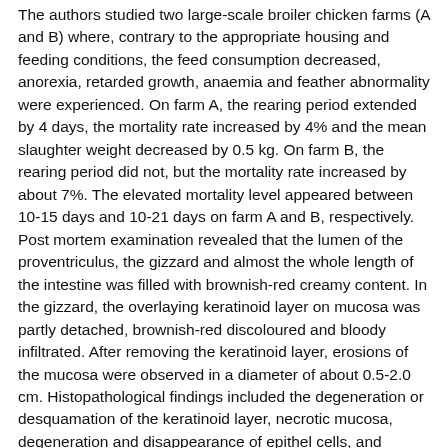The authors studied two large-scale broiler chicken farms (A and B) where, contrary to the appropriate housing and feeding conditions, the feed consumption decreased, anorexia, retarded growth, anaemia and feather abnormality were experienced. On farm A, the rearing period extended by 4 days, the mortality rate increased by 4% and the mean slaughter weight decreased by 0.5 kg. On farm B, the rearing period did not, but the mortality rate increased by about 7%. The elevated mortality level appeared between 10-15 days and 10-21 days on farm A and B, respectively. Post mortem examination revealed that the lumen of the proventriculus, the gizzard and almost the whole length of the intestine was filled with brownish-red creamy content. In the gizzard, the overlaying keratinoid layer on mucosa was partly detached, brownish-red discoloured and bloody infiltrated. After removing the keratinoid layer, erosions of the mucosa were observed in a diameter of about 0.5-2.0 cm. Histopathological findings included the degeneration or desquamation of the keratinoid layer, necrotic mucosa, degeneration and disappearance of epithel cells, and oedematous lamina propria infiltrated by lymphocytes, macrophages and heterophils. In the affected epithel cells basophilic intranuclear inclusion bodies were observed. Cytopathogenic effect typical of adenoviruses was experienced on the inoculated tissue cultures. Presence of adenoviruses was confirmed by PCR in the supernatant of the passaged tissue culture and in the mucosa of the affected